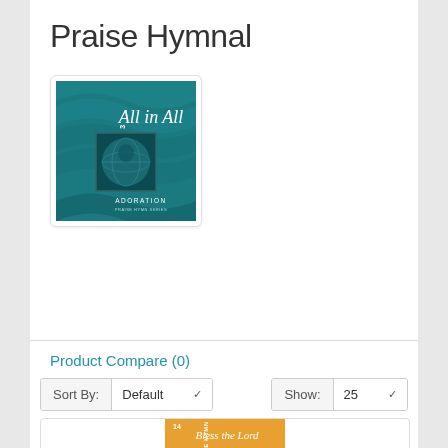Praise Hymnal
[Figure (photo): Album cover for Praise Hymn 3 – All in All: Adoration, featuring teal wavy fabric background with stylized text and a square inset image of a globe]
Product Compare (0)
Sort By: Default ▾   Show: 25 ▾
[Figure (photo): Album cover for Praise Hymn 14 – Bless the Lord, featuring orange/gold background with a silhouette of a cross and raised hands]